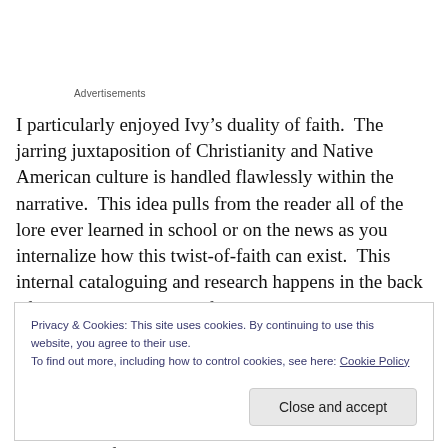Advertisements
I particularly enjoyed Ivy’s duality of faith.  The jarring juxtaposition of Christianity and Native American culture is handled flawlessly within the narrative.  This idea pulls from the reader all of the lore ever learned in school or on the news as you internalize how this twist-of-faith can exist.  This internal cataloguing and research happens in the back of your mind as only the few and varied elements
Privacy & Cookies: This site uses cookies. By continuing to use this website, you agree to their use.
To find out more, including how to control cookies, see here: Cookie Policy
Close and accept
happen incognito, with a subtlety of word and poignancy of